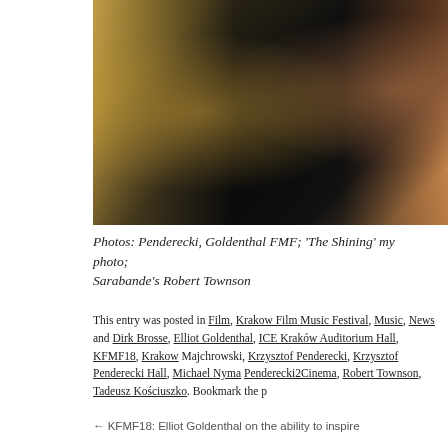[Figure (photo): Photograph showing people at what appears to be an event, with dark clothing visible against a warm golden/brown background]
Photos: Penderecki, Goldenthal FMF; 'The Shining' my photo; Sarabande's Robert Townson
This entry was posted in Film, Krakow Film Music Festival, Music, News and Dirk Brosse, Elliot Goldenthal, ICE Kraków Auditorium Hall, KFMF18, Krakow Majchrowski, Krzysztof Penderecki, Krzysztof Penderecki Hall, Michael Nyma Penderecki2Cinema, Robert Townson, Tadeusz Kościuszko. Bookmark the p
← KFMF18: Elliot Goldenthal on the ability to inspire